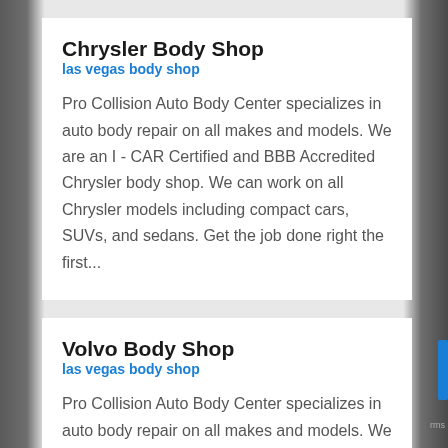Chrysler Body Shop
las vegas body shop
Pro Collision Auto Body Center specializes in auto body repair on all makes and models. We are an I-CAR Certified and BBB Accredited Chrysler body shop. We can work on all Chrysler models including compact cars, SUVs, and sedans. Get the job done right the first...
Volvo Body Shop
las vegas body shop
Pro Collision Auto Body Center specializes in auto body repair on all makes and models. We are an I-CAR Certified and BBB Accredited Volvo body